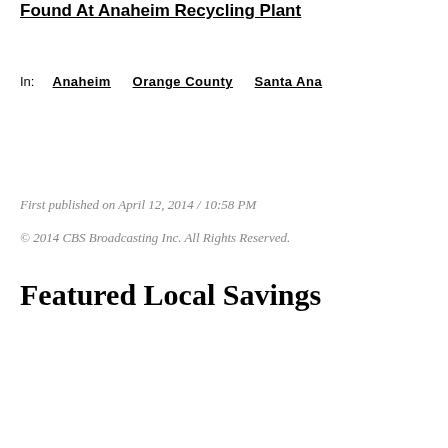Found At Anaheim Recycling Plant
In:  Anaheim   Orange County   Santa Ana
First published on April 12, 2014 / 10:58 PM
© 2014 CBS Broadcasting Inc. All Rights Reserved.
Featured Local Savings